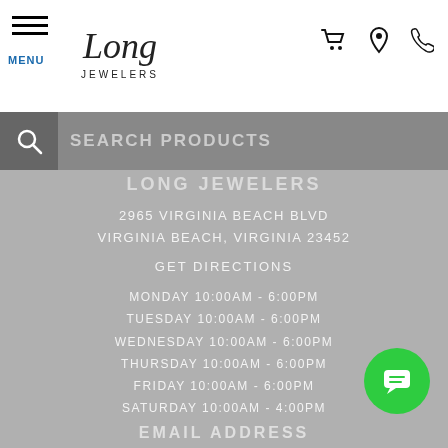Long Jewelers — MENU | Search | Cart | Location | Phone
SEARCH PRODUCTS
LONG JEWELERS
2965 VIRGINIA BEACH BLVD
VIRGINIA BEACH, VIRGINIA 23452
GET DIRECTIONS
MONDAY 10:00AM - 6:00PM
TUESDAY 10:00AM - 6:00PM
WEDNESDAY 10:00AM - 6:00PM
THURSDAY 10:00AM - 6:00PM
FRIDAY 10:00AM - 6:00PM
SATURDAY 10:00AM - 4:00PM
SUNDAY CLOSED
EMAIL ADDRESS